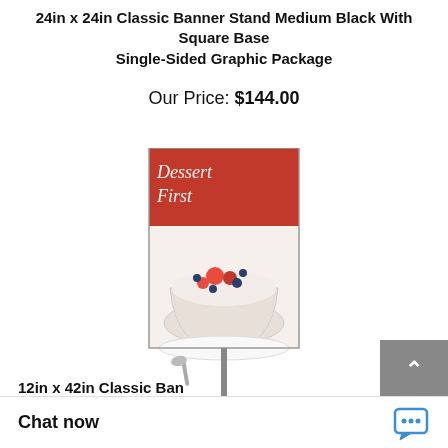24in x 24in Classic Banner Stand Medium Black With Square Base Single-Sided Graphic Package
Our Price: $144.00
[Figure (photo): Product photo of a classic banner stand with a square black base and a tall pole supporting a rectangular banner displaying a dessert scene with the text 'Dessert First']
12in x 42in Classic Ban
Chat now